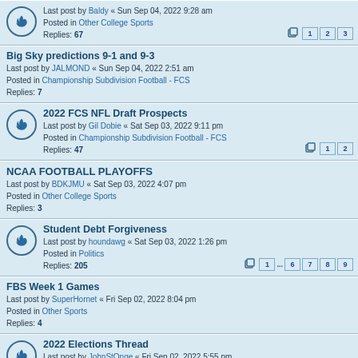Last post by Baldy « Sun Sep 04, 2022 9:28 am
Posted in Other College Sports
Replies: 67
Big Sky predictions 9-1 and 9-3
Last post by JALMOND « Sun Sep 04, 2022 2:51 am
Posted in Championship Subdivision Football - FCS
Replies: 7
2022 FCS NFL Draft Prospects
Last post by Gil Dobie « Sat Sep 03, 2022 9:11 pm
Posted in Championship Subdivision Football - FCS
Replies: 47
NCAA FOOTBALL PLAYOFFS
Last post by BDKJMU « Sat Sep 03, 2022 4:07 pm
Posted in Other College Sports
Replies: 3
Student Debt Forgiveness
Last post by houndawg « Sat Sep 03, 2022 1:26 pm
Posted in Politics
Replies: 205
FBS Week 1 Games
Last post by SuperHornet « Fri Sep 02, 2022 8:04 pm
Posted in Other Sports
Replies: 4
2022 Elections Thread
Last post by JohnStOnge « Fri Sep 02, 2022 5:55 pm
Posted in Politics
Replies: 858